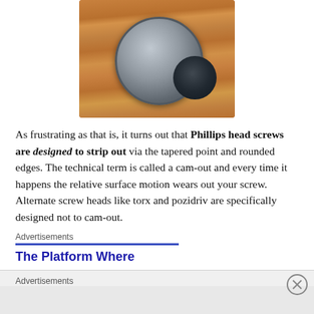[Figure (photo): Close-up photograph of a stripped Phillips head screw embedded in a wooden surface. The screw head is circular, metallic gray/blue, with a heavily stripped and damaged center recess.]
As frustrating as that is, it turns out that Phillips head screws are designed to strip out via the tapered point and rounded edges. The technical term is called a cam-out and every time it happens the relative surface motion wears out your screw. Alternate screw heads like torx and pozidriv are specifically designed not to cam-out.
Advertisements
The Platform Where
Advertisements